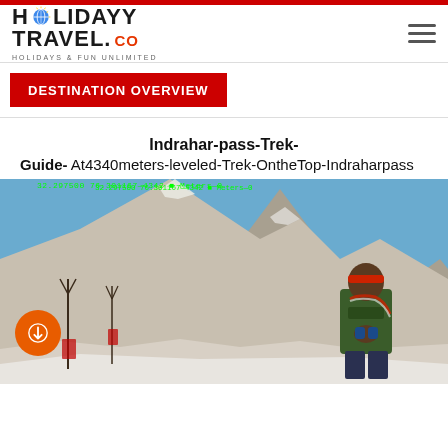[Figure (logo): Holiday Travel.co logo with globe icon and tagline HOLIDAYS & FUN UNLIMITED]
DESTINATION OVERVIEW
Indrahar-pass-Trek- Guide- At4340meters-leveled-Trek-OntheTop-Indraharpass
[Figure (photo): Trekker at Indrahar Pass summit at 4342 meters elevation, rocky mountain peaks with snow, religious trident (trishul) markers, person in green jacket and red headband with prayer beads, GPS coordinates 32.297500 76.301167 shown in green overlay text]